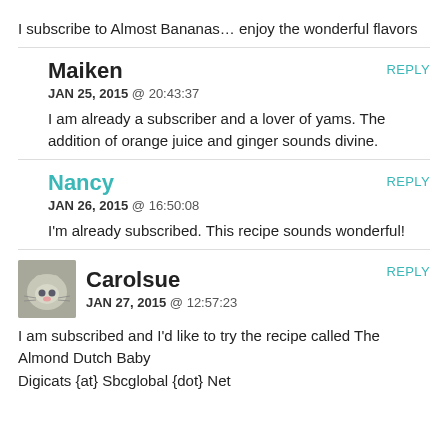I subscribe to Almost Bananas… enjoy the wonderful flavors
Maiken
JAN 25, 2015 @ 20:43:37
REPLY
I am already a subscriber and a lover of yams. The addition of orange juice and ginger sounds divine.
Nancy
JAN 26, 2015 @ 16:50:08
REPLY
I'm already subscribed. This recipe sounds wonderful!
Carolsue
JAN 27, 2015 @ 12:57:23
REPLY
I am subscribed and I'd like to try the recipe called The Almond Dutch Baby
Digicats {at} Sbcglobal {dot} Net